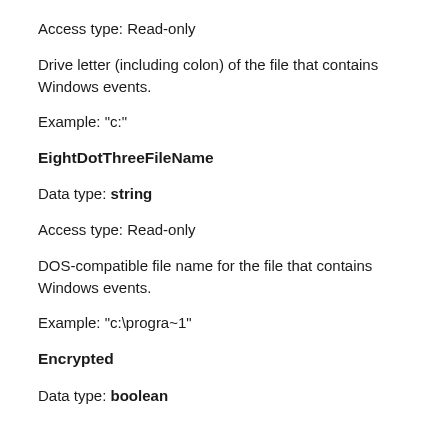Access type: Read-only
Drive letter (including colon) of the file that contains Windows events.
Example: "c:"
EightDotThreeFileName
Data type: string
Access type: Read-only
DOS-compatible file name for the file that contains Windows events.
Example: "c:\progra~1"
Encrypted
Data type: boolean